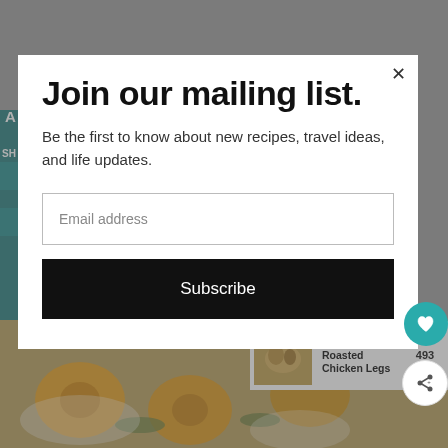[Figure (screenshot): Website screenshot showing a mailing list signup modal overlay on a food/lifestyle blog page. Background shows a teal sidebar, gray content area, and food photo at bottom. Modal contains 'Join our mailing list.' heading, descriptive text, email input field, subscribe button, heart and share action buttons, and a 'What's Next - Roasted Chicken Legs' panel.]
Join our mailing list.
Be the first to know about new recipes, travel ideas, and life updates.
Email address
Subscribe
493
WHAT'S NEXT → Roasted Chicken Legs